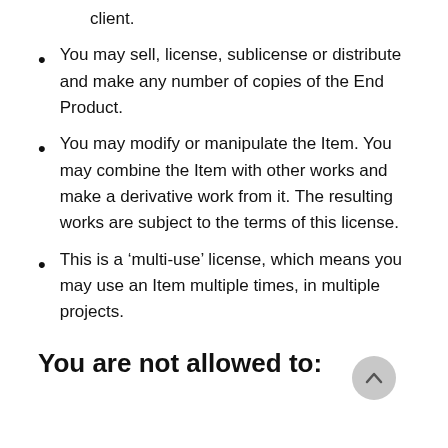client.
You may sell, license, sublicense or distribute and make any number of copies of the End Product.
You may modify or manipulate the Item. You may combine the Item with other works and make a derivative work from it. The resulting works are subject to the terms of this license.
This is a ‘multi-use’ license, which means you may use an Item multiple times, in multiple projects.
You are not allowed to: